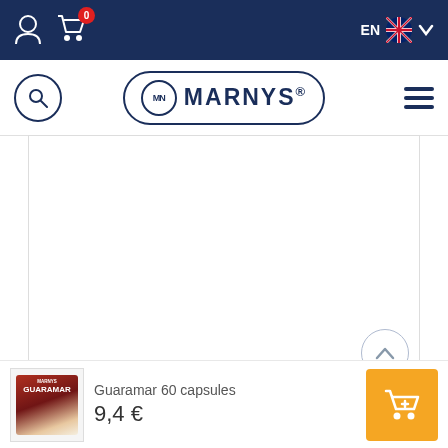[Figure (screenshot): Top navigation bar with user icon, cart icon with badge '0', and language selector showing EN with UK flag]
[Figure (logo): Marnys brand logo in pill-shaped border with MN circle emblem and search/hamburger icons]
[Figure (photo): Product image area - large white rectangular display area]
Guaramar 60 capsules
9,4 €